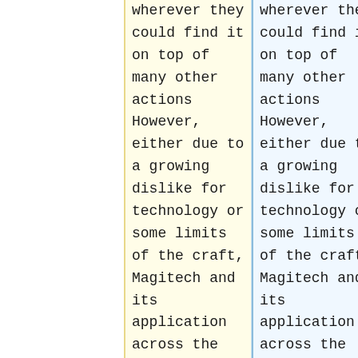wherever they could find it on top of many other actions However, either due to a growing dislike for technology or some limits of the craft, Magitech and its application across the Allorn Empire gradually
wherever they could find it on top of many other actions However, either due to a growing dislike for technology or some limits of the craft, Magitech and its application across the Allorn Empire gradually